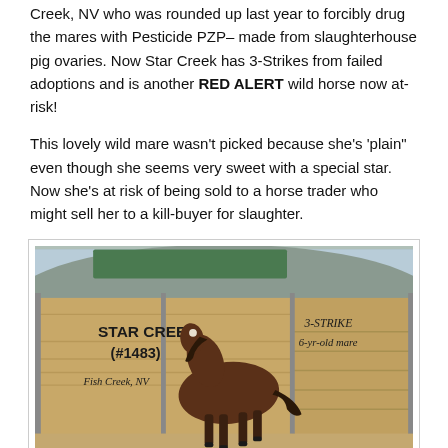Creek, NV who was rounded up last year to forcibly drug the mares with Pesticide PZP– made from slaughterhouse pig ovaries. Now Star Creek has 3-Strikes from failed adoptions and is another RED ALERT wild horse now at-risk!
This lovely wild mare wasn't picked because she's 'plain" even though she seems very sweet with a special star. Now she's at risk of being sold to a horse trader who might sell her to a kill-buyer for slaughter.
[Figure (photo): A bay wild mare standing in a dirt pen in front of wooden fence panels. Signs on the fence read 'STAR CREEK (#1483) Fish Creek, NV' and '3-STRIKE 6-yr-old mare'. Watermark reads 'Protect Mustangs.org'.]